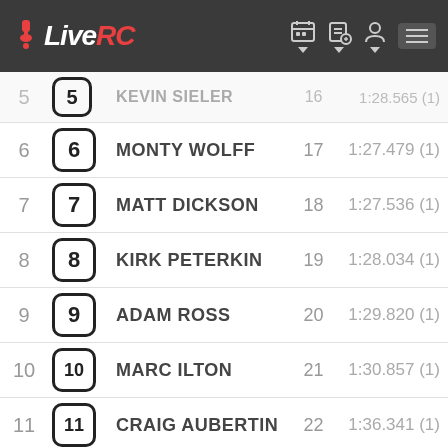LiveRC
| Pos | Car # | Driver | Seed # | Seed Result |
| --- | --- | --- | --- | --- |
| 5 | 5 | KEVIN SIELER | 16 | 1:28.565 (1) |
| 6 | 6 | MONTY WOLFF | 17 | 1:27.479 (1) |
| 7 | 7 | MATT DICKSON | 18 | 1:27.536 (1) |
| 8 | 8 | KIRK PETERKIN | 19 | 1:28.034 (1) |
| 9 | 9 | ADAM ROSS | 20 | 1:29.820 (1) |
| 10 | 10 | MARC ILTON | 21 | 1:30.857 (1) |
| 11 | 11 | CRAIG AUBERTIN | 22 | 1:36.341 (1) |
8th Nitro Buggy (Heat 4/4) — Car #13 — Length: 5:00 Timed — Status: Not Yet Run
| Pos | Car # / Driver | Seed # | Seed Result |
| --- | --- | --- | --- |